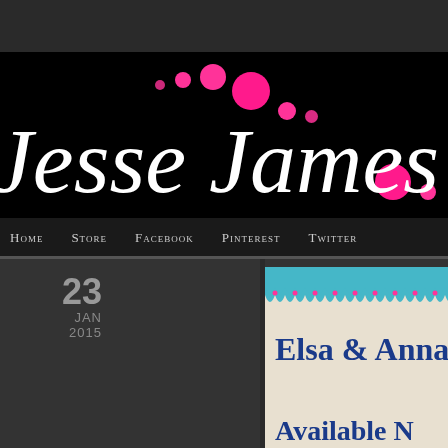[Figure (logo): Jesse James Beads cursive logo on black background with pink decorative dots]
Home  Store  Facebook  Pinterest  Twitter
23
JAN
2015
No Comments
[Figure (screenshot): Elsa & Anna Available - partial view of blog post card with teal and pink decorative top border on light background]